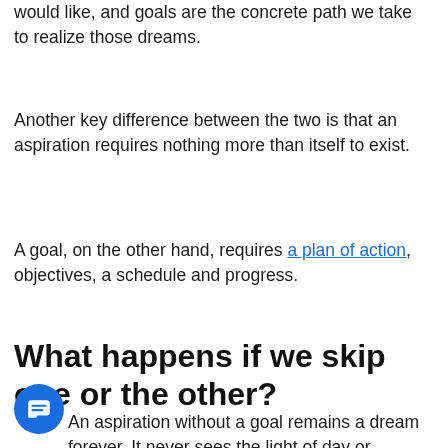would like, and goals are the concrete path we take to realize those dreams.
Another key difference between the two is that an aspiration requires nothing more than itself to exist.
A goal, on the other hand, requires a plan of action, objectives, a schedule and progress.
What happens if we skip one or the other?
An aspiration without a goal remains a dream forever. It never sees the light of day or breathes